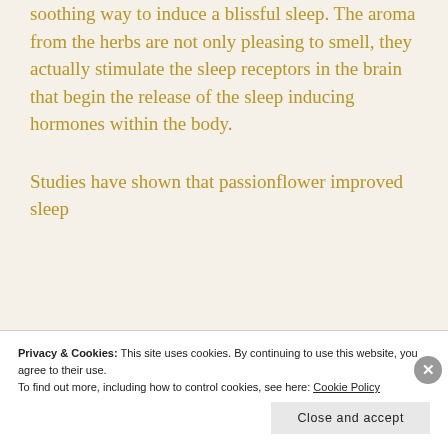soothing way to induce a blissful sleep. The aroma from the herbs are not only pleasing to smell, they actually stimulate the sleep receptors in the brain that begin the release of the sleep inducing hormones within the body.
Studies have shown that passionflower improved sleep
Privacy & Cookies: This site uses cookies. By continuing to use this website, you agree to their use.
To find out more, including how to control cookies, see here: Cookie Policy